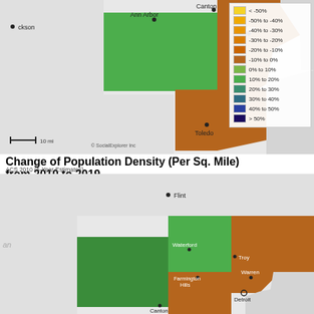[Figure (map): Choropleth map showing change of population density (Per Sq. Mile) from 2010 to 2019 for Michigan region. Top map shows counties including Ann Arbor, Canton, Taylor areas (green = 0-10% increase), and Toledo area (brown/orange = -10% to 0% decrease). Legend on right shows color scale from < -50% (yellow) to > 50% (dark purple). Scale bar shows 10 mi. Credit: SocialExplorer Inc]
Change of Population Density (Per Sq. Mile) from 2010 to 2019
ACS 2010 (5-Year Estimates)
[Figure (map): Bottom choropleth map showing same metric for southeast Michigan area including Flint, Waterford, Troy, Farmington Hills, Warren, Detroit, Canton cities. Green areas (0-10% to 10-20% increase) and orange-brown areas (-10% to 0% decrease) shown. Lake Michigan labeled as 'an' (partial label).]